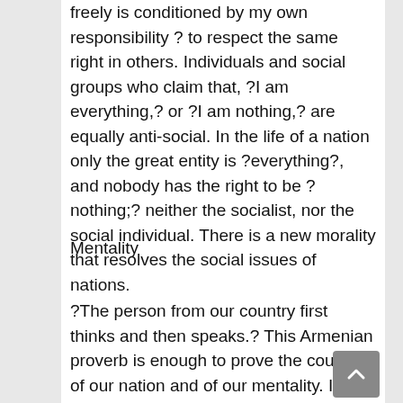freely is conditioned by my own responsibility ? to respect the same right in others. Individuals and social groups who claim that, ?I am everything,? or ?I am nothing,? are equally anti-social. In the life of a nation only the great entity is ?everything?, and nobody has the right to be ?nothing;? neither the socialist, nor the social individual. There is a new morality that resolves the social issues of nations.
Mentality
?The person from our country first thinks and then speaks.? This Armenian proverb is enough to prove the courage of our nation and of our mentality. In a nationally sound Armenian, respect towards mentality was profoundly deep. Thought was organized and moral at its roots. It